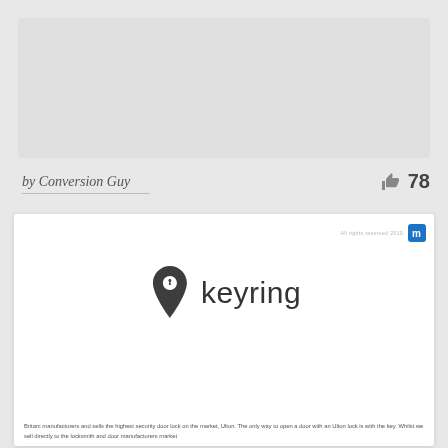[Figure (other): Gray rectangular placeholder image at top of page]
by Conversion Guy
78
[Figure (logo): Keyring logo: location pin icon with key hole and company name 'keyring' in dark gray text]
All rights reserved 2019
Britarc manufacturers and sells the highest security door lock on the market, Ulton. The only way to open a door with an Ulton lock is with the key. Whilst we sell directly to the locksmith and door manufacturers market...